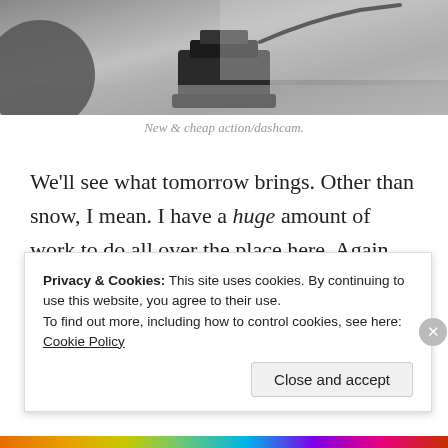[Figure (photo): Close-up photo of a camera mount/dashcam attached to a surface, black and grey tones]
New & cheap action/dashcam.
We'll see what tomorrow brings. Other than snow, I mean. I have a huge amount of work to do all over the place here. Again. But at least nothing got destroyed over the Winter.
Marc Beebe   Uncategorized   1 Comment   May 6, 2021   2 Minutes
Privacy & Cookies: This site uses cookies. By continuing to use this website, you agree to their use.
To find out more, including how to control cookies, see here: Cookie Policy
Close and accept